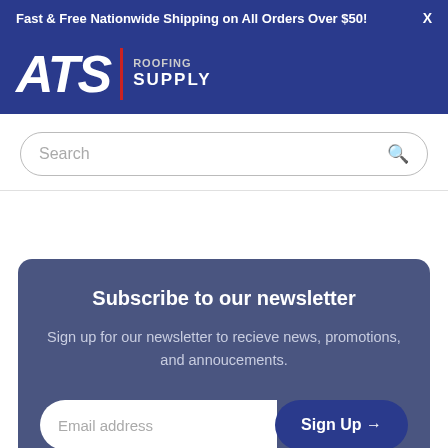Fast & Free Nationwide Shipping on All Orders Over $50!  X
[Figure (logo): ATS Roofing Supply logo — white bold italic letters ATS with red vertical divider and SUPPLY text in white on dark blue background]
Search
Subscribe to our newsletter
Sign up for our newsletter to recieve news, promotions, and annoucements.
Email address
Sign Up →